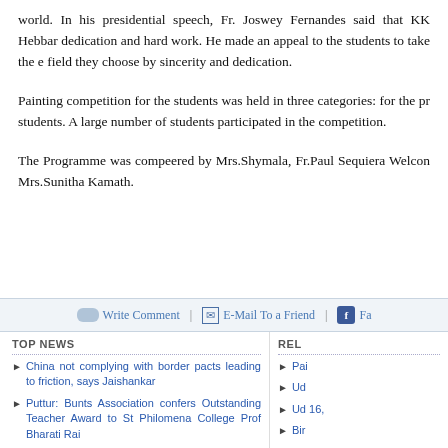world. In his presidential speech, Fr. Joswey Fernandes said that KK Hebbar dedication and hard work. He made an appeal to the students to take the e field they choose by sincerity and dedication.
Painting competition for the students was held in three categories: for the pr students. A large number of students participated in the competition.
The Programme was compeered by Mrs.Shymala, Fr.Paul Sequiera Welcon Mrs.Sunitha Kamath.
Write Comment | E-Mail To a Friend | Fa
TOP NEWS
China not complying with border pacts leading to friction, says Jaishankar
Puttur: Bunts Association confers Outstanding Teacher Award to St Philomena College Prof Bharati Rai
Mangaluru: Kanachur Institute of Allied Health Sciences bags
REL
Pai
Ud
Ud 16,
Bir